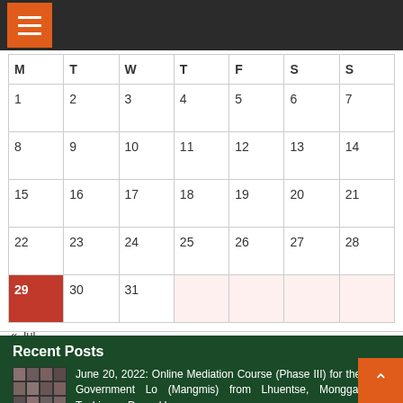| M | T | W | T | F | S | S |
| --- | --- | --- | --- | --- | --- | --- |
| 1 | 2 | 3 | 4 | 5 | 6 | 7 |
| 8 | 9 | 10 | 11 | 12 | 13 | 14 |
| 15 | 16 | 17 | 18 | 19 | 20 | 21 |
| 22 | 23 | 24 | 25 | 26 | 27 | 28 |
| 29 | 30 | 31 |  |  |  |  |
« Jul
Recent Posts
[Figure (photo): Group photo of online mediation course participants in video call grid]
June 20, 2022: Online Mediation Course (Phase III) for the Local Government Lo (Mangmis) from Lhuentse, Monggar and Tashigang Dzongkhags